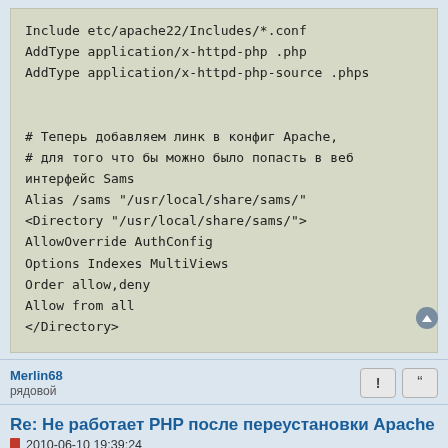Include etc/apache22/Includes/*.conf
AddType application/x-httpd-php .php
AddType application/x-httpd-php-source .phps


# Теперь добавляем линк в конфиг Apache,
# для того что бы можно было попасть в веб интерфейс Sams
Alias /sams "/usr/local/share/sams/"
<Directory "/usr/local/share/sams/">
AllowOverride AuthConfig
Options Indexes MultiViews
Order allow,deny
Allow from all
</Directory>
Merlin68
рядовой
Re: Не работает PHP после переустановки Apache
2010-06-10 19:39:24
Теперь, логи апача: